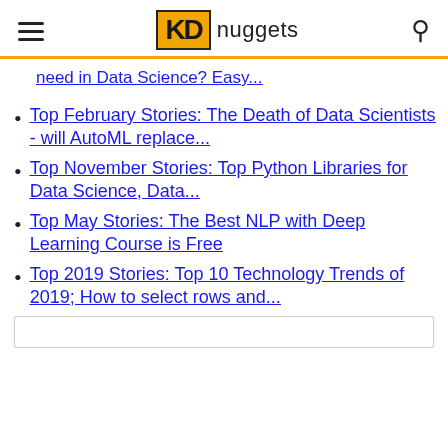KD nuggets
need in Data Science? Easy...
Top February Stories: The Death of Data Scientists - will AutoML replace...
Top November Stories: Top Python Libraries for Data Science, Data...
Top May Stories: The Best NLP with Deep Learning Course is Free
Top 2019 Stories: Top 10 Technology Trends of 2019; How to select rows and...